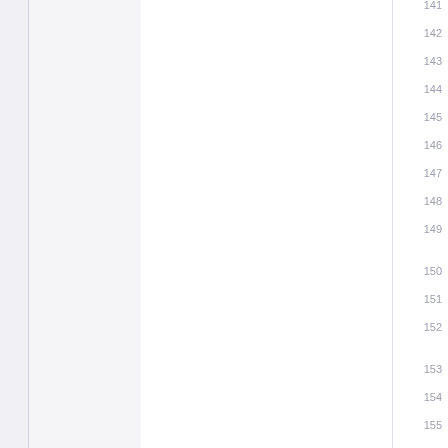141 142 143 144 145 146 147 148 149 150 151 152 153 154 155 156 157 158 159 160 161 162 163 164 165